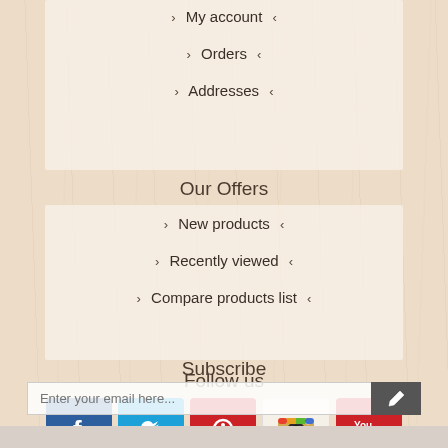> My account <
> Orders <
> Addresses <
Our Offers
> New products <
> Recently viewed <
> Compare products list <
Follow us
[Figure (infographic): Social media icons: Facebook, Twitter, Pinterest, Instagram, YouTube]
Subscribe
Enter your email here...